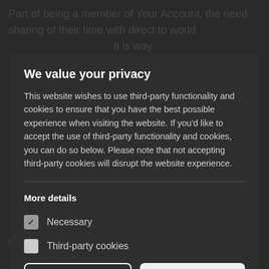We value your privacy
This website wishes to use third-party functionality and cookies to ensure that you have the best possible experience when visiting the website. If you'd like to accept the use of third-party functionality and cookies, you can do so below. Please note that not accepting third-party cookies will disrupt the website experience.
More details
Necessary (checked)
Third-party cookies (unchecked)
Accept selected | Accept all